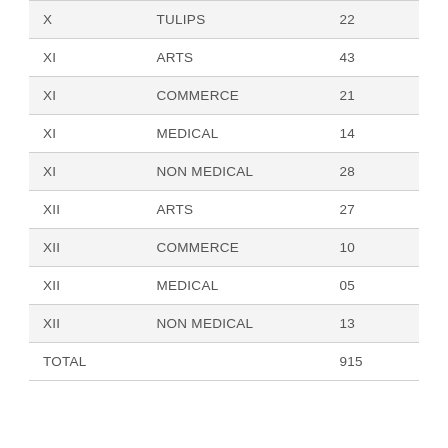| X | TULIPS | 22 |
| XI | ARTS | 43 |
| XI | COMMERCE | 21 |
| XI | MEDICAL | 14 |
| XI | NON MEDICAL | 28 |
| XII | ARTS | 27 |
| XII | COMMERCE | 10 |
| XII | MEDICAL | 05 |
| XII | NON MEDICAL | 13 |
| TOTAL |  | 915 |